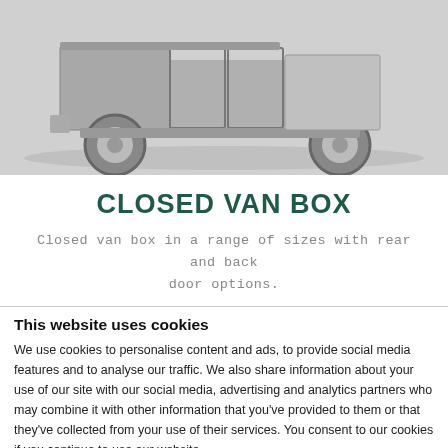[Figure (photo): Side view of a light vehicle chassis/frame showing wheels and open body structure, on a light grey background.]
CLOSED VAN BOX
Closed van box in a range of sizes with rear and back door options.
This website uses cookies
We use cookies to personalise content and ads, to provide social media features and to analyse our traffic. We also share information about your use of our site with our social media, advertising and analytics partners who may combine it with other information that you've provided to them or that they've collected from your use of their services. You consent to our cookies if you continue to use our website.
Allow selection | Allow all cookies
Necessary | Preferences | Show details
Statistics | Marketing